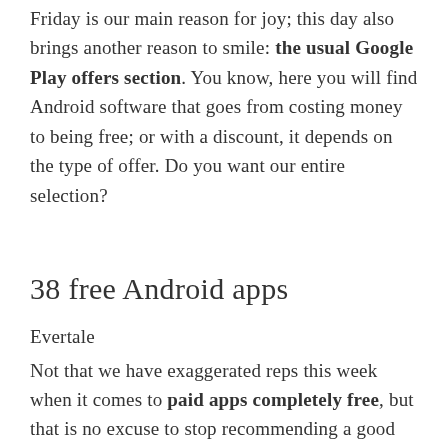Friday is our main reason for joy; this day also brings another reason to smile: the usual Google Play offers section. You know, here you will find Android software that goes from costing money to being free; or with a discount, it depends on the type of offer. Do you want our entire selection?
38 free Android apps
Evertale
Not that we have exaggerated reps this week when it comes to paid apps completely free, but that is no excuse to stop recommending a good handful more than decent. Check them out right below.